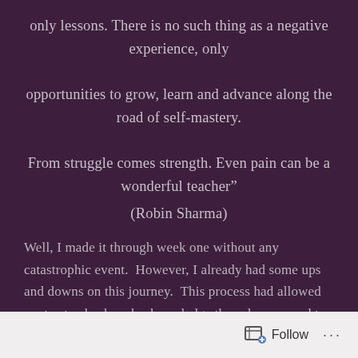only lessons. There is no such thing as a negative experience, only opportunities to grow, learn and advance along the road of self-mastery. From struggle comes strength. Even pain can be a wonderful teacher"
(Robin Sharma)
Well, I made it through week one without any catastrophic event. However, I already had some ups and downs on this journey. This process had allowed me to step back and acknowledge those lessons and to learned from them.
Follow ...